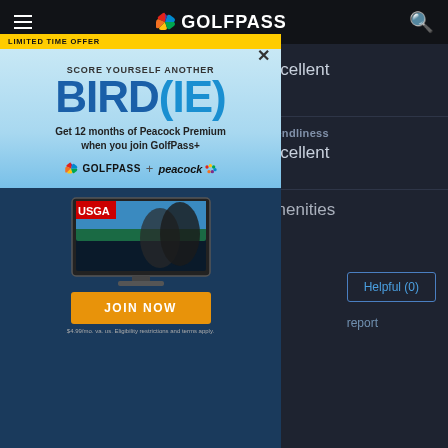GolfPass
|  |  |
| --- | --- |
| Average | Excellent |
| Layout | Friendliness |
| Good | Excellent |
| Pace | Amenities |
[Figure (screenshot): GolfPass popup advertisement: LIMITED TIME OFFER - SCORE YOURSELF ANOTHER BIRDIE. Get 12 months of Peacock Premium when you join GolfPass+. GolfPass + peacock logos. JOIN NOW button. $4.99/mo. va. us. Eligibility restrictions and terms apply.]